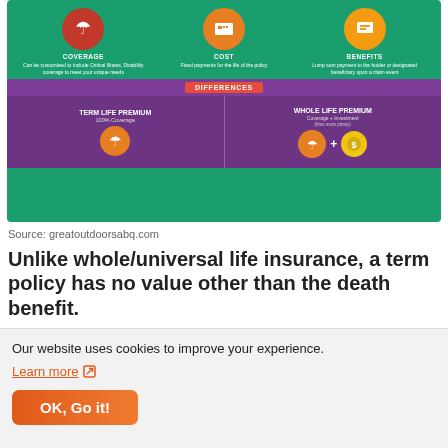[Figure (infographic): Insurance comparison infographic showing Coverage (can be customised to include Critical Illness, Disability coverage to meet your unique needs), Cost (Fixed payments for the life of the policy), and Benefits (Lump sum payment to the holder or designated beneficiary upon a claim event). Differences section shows Term Life Premium (100% Coverage) vs Whole Life Premium (Coverage + Investment, thus more pricey).]
Source: greatoutdoorsabq.com
Unlike whole/universal life insurance, a term policy has no value other than the death benefit.
[Figure (organizational-chart): Whole Life Policy heading with an organizational chart diagram showing hierarchy of boxes]
Our website uses cookies to improve your experience.
Learn more
OK, Go it!